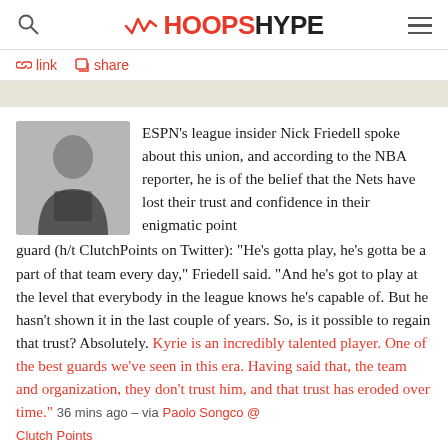HOOPSHYPE
link  share
ESPN's league insider Nick Friedell spoke about this union, and according to the NBA reporter, he is of the belief that the Nets have lost their trust and confidence in their enigmatic point guard (h/t ClutchPoints on Twitter): "He's gotta play, he's gotta be a part of that team every day," Friedell said. "And he's got to play at the level that everybody in the league knows he's capable of. But he hasn't shown it in the last couple of years. So, is it possible to regain that trust? Absolutely. Kyrie is an incredibly talented player. One of the best guards we've seen in this era. Having said that, the team and organization, they don't trust him, and that trust has eroded over time." 36 mins ago – via Paolo Songco @ Clutch Points